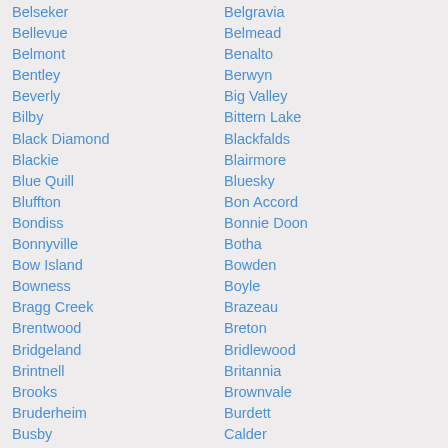Belseker
Belgravia
Bellevue
Belmead
Belmont
Benalto
Bentley
Berwyn
Beverly
Big Valley
Bilby
Bittern Lake
Black Diamond
Blackfalds
Blackie
Blairmore
Blue Quill
Bluesky
Bluffton
Bon Accord
Bondiss
Bonnie Doon
Bonnyville
Botha
Bow Island
Bowden
Bowness
Boyle
Bragg Creek
Brazeau
Brentwood
Breton
Bridgeland
Bridlewood
Brintnell
Britannia
Brooks
Brownvale
Bruderheim
Burdett
Busby
Calder
Calgary
Calmar
Cambrian Heights
Camrose